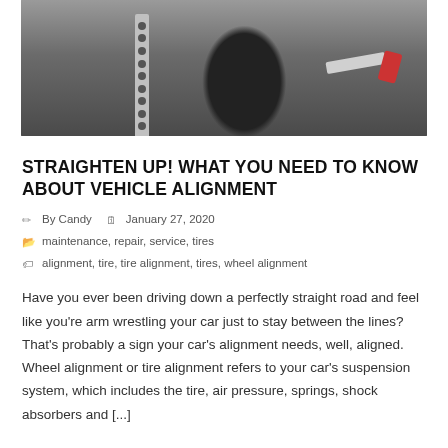[Figure (photo): A wheel alignment machine with metal bars and a red handle, photographed close-up in a service shop.]
STRAIGHTEN UP! WHAT YOU NEED TO KNOW ABOUT VEHICLE ALIGNMENT
By Candy  January 27, 2020
maintenance, repair, service, tires
alignment, tire, tire alignment, tires, wheel alignment
Have you ever been driving down a perfectly straight road and feel like you're arm wrestling your car just to stay between the lines? That's probably a sign your car's alignment needs, well, aligned. Wheel alignment or tire alignment refers to your car's suspension system, which includes the tire, air pressure, springs, shock absorbers and [...]